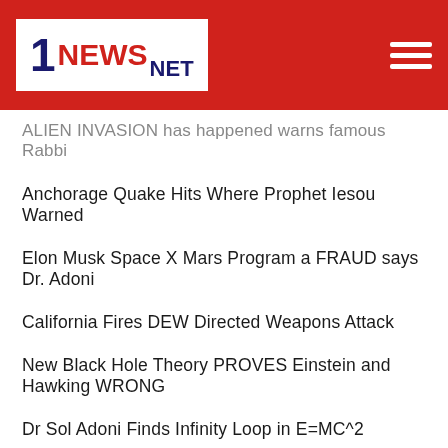[Figure (logo): 1 NEWS NET logo on red header background with hamburger menu icon]
ALIEN INVASION has happened warns famous Rabbi
Anchorage Quake Hits Where Prophet Iesou Warned
Elon Musk Space X Mars Program a FRAUD says Dr. Adoni
California Fires DEW Directed Weapons Attack
New Black Hole Theory PROVES Einstein and Hawking WRONG
Dr Sol Adoni Finds Infinity Loop in E=MC^2
Thousand Oaks Massacre hits Pentagram of Blood
ARCHIVES
March 2019
February 2019
January 2019
December 2018
November 2018
October 2018